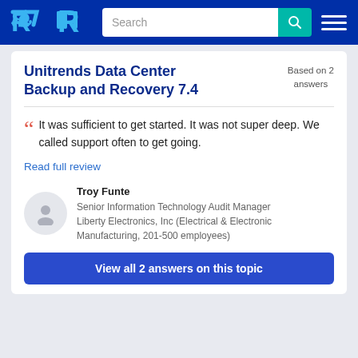TrustRadius navigation bar with logo, search box, and menu
Unitrends Data Center Backup and Recovery 7.4
Based on 2 answers
It was sufficient to get started. It was not super deep. We called support often to get going.
Read full review
Troy Funte
Senior Information Technology Audit Manager
Liberty Electronics, Inc (Electrical & Electronic Manufacturing, 201-500 employees)
View all 2 answers on this topic